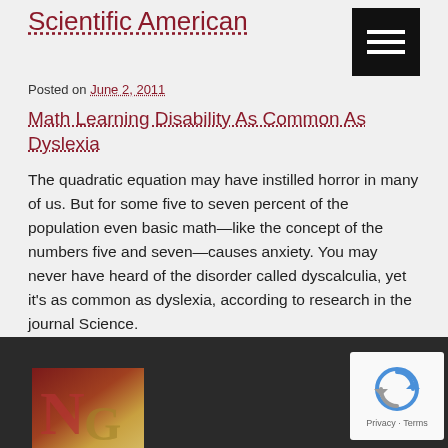Scientific American
Posted on June 2, 2011
Math Learning Disability As Common As Dyslexia
The quadratic equation may have instilled horror in many of us. But for some five to seven percent of the population even basic math—like the concept of the numbers five and seven—causes anxiety. You may never have heard of the disorder called dyscalculia, yet it's as common as dyslexia, according to research in the journal Science.
Posted in learning disability
[Figure (logo): NG logo in bottom left footer area]
[Figure (other): reCAPTCHA widget with circular arrow icon and Privacy - Terms text]